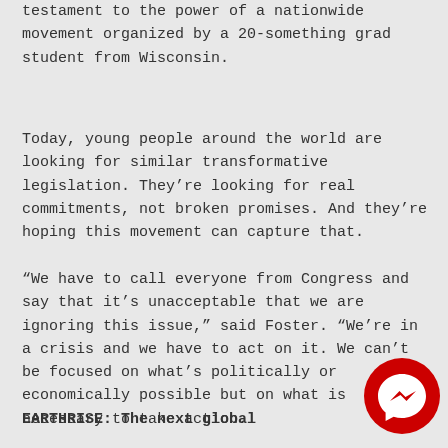testament to the power of a nationwide movement organized by a 20-something grad student from Wisconsin.
Today, young people around the world are looking for similar transformative legislation. They're looking for real commitments, not broken promises. And they're hoping this movement can capture that.
“We have to call everyone from Congress and say that it’s unacceptable that we are ignoring this issue,” said Foster. “We’re in a crisis and we have to act on it. We can’t be focused on what’s politically or economically possible but on what is necessary to take action.
EARTHRISE: The next global